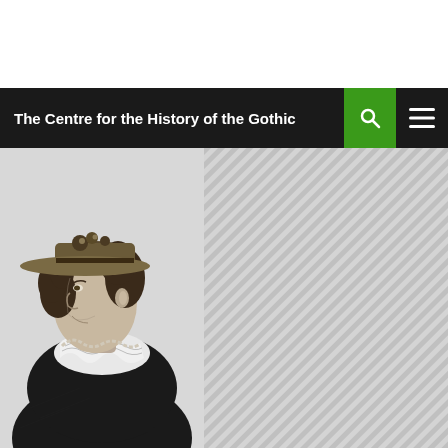The Centre for the History of the Gothic
[Figure (illustration): Black and white engraving/illustration of a woman in historical dress, wearing a wide-brimmed hat and ruffled collar, depicted from the waist up in side profile facing left]